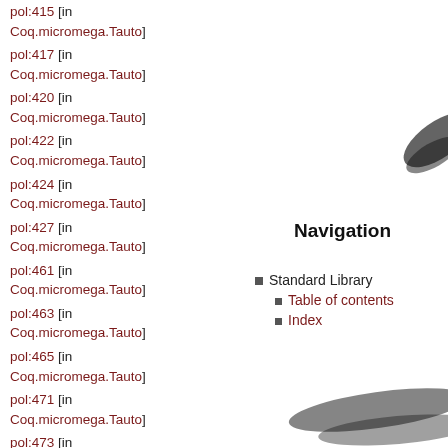pol:415 [in Coq.micromega.Tauto]
pol:417 [in Coq.micromega.Tauto]
pol:420 [in Coq.micromega.Tauto]
pol:422 [in Coq.micromega.Tauto]
pol:424 [in Coq.micromega.Tauto]
pol:427 [in Coq.micromega.Tauto]
pol:461 [in Coq.micromega.Tauto]
pol:463 [in Coq.micromega.Tauto]
pol:465 [in Coq.micromega.Tauto]
pol:471 [in Coq.micromega.Tauto]
pol:473 [in Coq.micromega.Tauto]
Navigation
Standard Library
Table of contents
Index